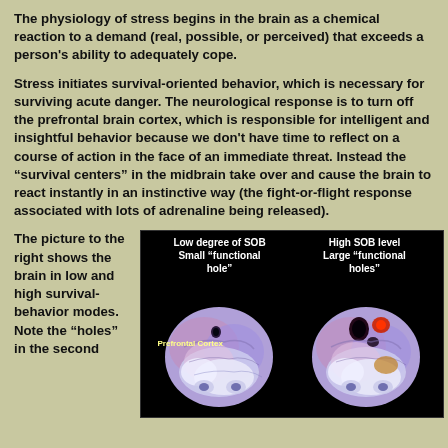The physiology of stress begins in the brain as a chemical reaction to a demand (real, possible, or perceived) that exceeds a person's ability to adequately cope.
Stress initiates survival-oriented behavior, which is necessary for surviving acute danger. The neurological response is to turn off the prefrontal brain cortex, which is responsible for intelligent and insightful behavior because we don't have time to reflect on a course of action in the face of an immediate threat. Instead the “survival centers” in the midbrain take over and cause the brain to react instantly in an instinctive way (the fight-or-flight response associated with lots of adrenaline being released).
The picture to the right shows the brain in low and high survival-behavior modes. Note the “holes” in the second
[Figure (photo): Brain scan image showing two views side by side on black background. Left: 'Low degree of SOB Small "functional hole"' with label 'Prefrontal Cortex' showing brain with small dark area. Right: 'High SOB level Large "functional holes"' showing brain with larger dark/red areas indicating functional holes.]